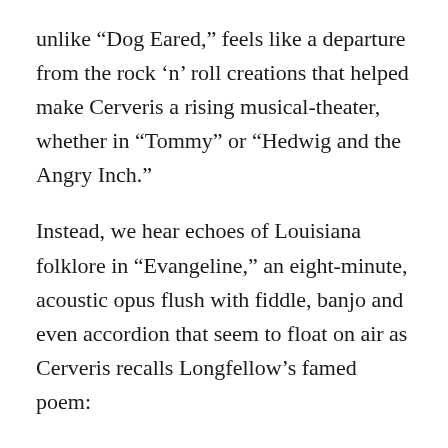unlike “Dog Eared,” feels like a departure from the rock ‘n’ roll creations that helped make Cerveris a rising musical-theater, whether in “Tommy” or “Hedwig and the Angry Inch.”
Instead, we hear echoes of Louisiana folklore in “Evangeline,” an eight-minute, acoustic opus flush with fiddle, banjo and even accordion that seem to float on air as Cerveris recalls Longfellow’s famed poem:
Knew so little when she learned of heartache /